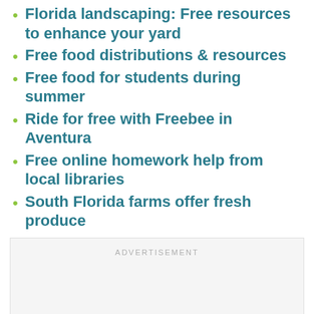Florida landscaping: Free resources to enhance your yard
Free food distributions & resources
Free food for students during summer
Ride for free with Freebee in Aventura
Free online homework help from local libraries
South Florida farms offer fresh produce
[Figure (other): Advertisement placeholder box with teal heart FAB button and white share FAB button, plus a 'WHAT'S NEXT' card showing 'Fitness classes and...' with a circular thumbnail]
ADVERTISEMENT